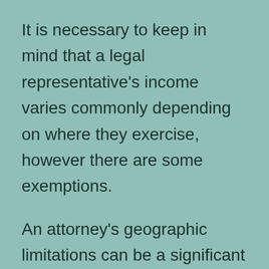It is necessary to keep in mind that a legal representative's income varies commonly depending on where they exercise, however there are some exemptions.
An attorney's geographic limitations can be a significant barrier to their practice. Also in countries that have unique professional hac vice regulations, lawyers may still face different specialist obligation regulations and also step-by-step and substantive laws. Additionally, many nations control lawyers via a Ministry of Justice, which can lead to disputes of interest. For that reason, the function of a legal